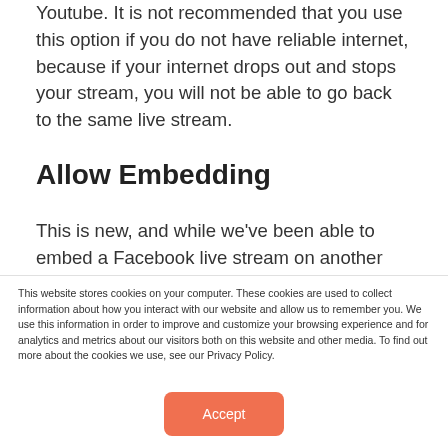Youtube. It is not recommended that you use this option if you do not have reliable internet, because if your internet drops out and stops your stream, you will not be able to go back to the same live stream.
Allow Embedding
This is new, and while we've been able to embed a Facebook live stream on another webpage using their embed code, now we have the option to not
This website stores cookies on your computer. These cookies are used to collect information about how you interact with our website and allow us to remember you. We use this information in order to improve and customize your browsing experience and for analytics and metrics about our visitors both on this website and other media. To find out more about the cookies we use, see our Privacy Policy.